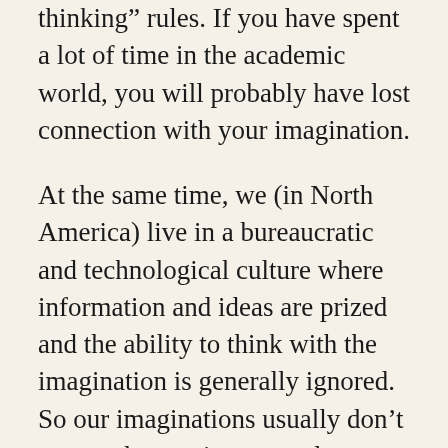thinking” rules. If you have spent a lot of time in the academic world, you will probably have lost connection with your imagination.
At the same time, we (in North America) live in a bureaucratic and technological culture where information and ideas are prized and the ability to think with the imagination is generally ignored. So our imaginations usually don’t get much exercise as we do our jobs, either.
Furthermore, most of us have lives that are too fast-paced and crammed with activity. For our imagination to work well, we need to be relaxed. When we are hurried and under stress, it’s very difficult for our